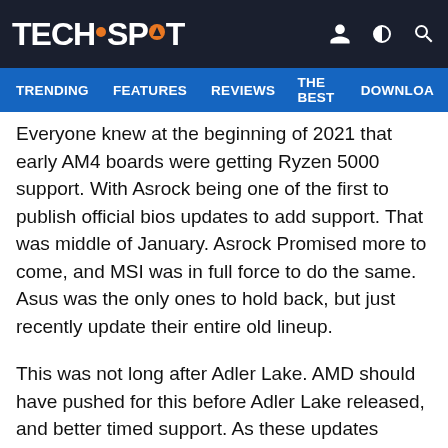TECHSPOT
TRENDING   FEATURES   REVIEWS   THE BEST   DOWNLOA
Everyone knew at the beginning of 2021 that early AM4 boards were getting Ryzen 5000 support. With Asrock being one of the first to publish official bios updates to add support. That was middle of January. Asrock Promised more to come, and MSI was in full force to do the same. Asus was the only ones to hold back, but just recently update their entire old lineup.
This was not long after Adler Lake. AMD should have pushed for this before Adler Lake released, and better timed support. As these updates should have came 1-5 months earlier.
Let me know of a Intel Board as old as some of these boards still getting Bios Updates?.... Nearly every Intel board I've ever owned felt like a damn android phone when